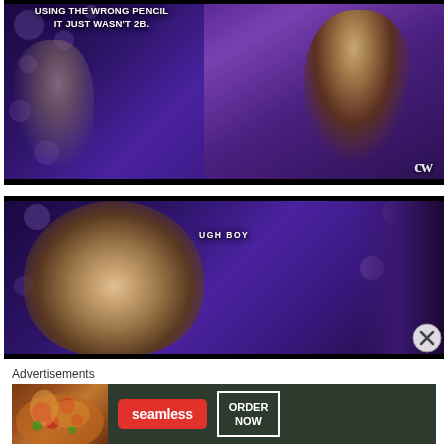[Figure (screenshot): TV show screenshot from The CW showing a woman with dramatic dark makeup and braided hair against a purple bokeh background. White text overlay reads: USING THE WRONG PENCIL IT JUST WASN'T 2B. CW logo visible bottom right.]
[Figure (screenshot): TV show screenshot from The CW showing a blonde woman looking emotional against a purple bokeh background. White subtitle text reads: UGH BOY]
[Figure (other): Close/dismiss button (X in circle) overlaid on the second screenshot at bottom right]
Advertisements
[Figure (other): Seamless food delivery advertisement banner showing pizza image on left, red Seamless logo button in center, and 'ORDER NOW' button in white border box on dark green background]